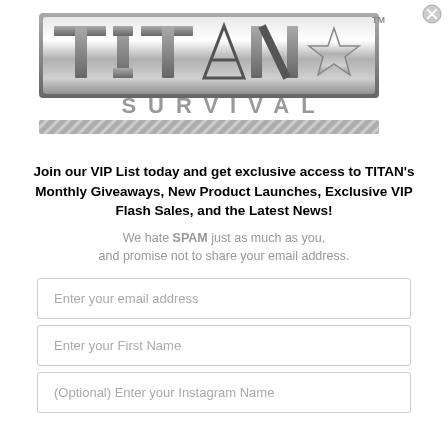[Figure (logo): TITAN SURVIVAL logo — metallic silver block letters spelling TITAN with a star, and SURVIVAL text below with diagonal hatching stripe]
Join our VIP List today and get exclusive access to TITAN's Monthly Giveaways, New Product Launches, Exclusive VIP Flash Sales, and the Latest News!
We hate SPAM just as much as you, and promise not to share your email address.
Enter your email address
Enter your First Name
(Optional) Enter your Instagram Name